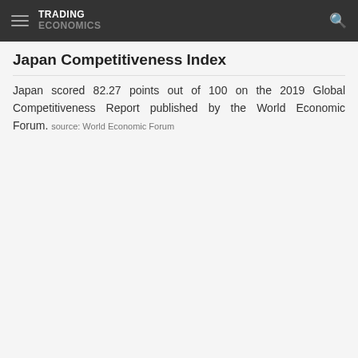TRADING ECONOMICS
Japan Competitiveness Index
Japan scored 82.27 points out of 100 on the 2019 Global Competitiveness Report published by the World Economic Forum. source: World Economic Forum